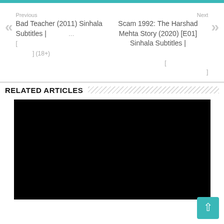Previous
Bad Teacher (2011) Sinhala Subtitles | ... [
] (18+)
Next
Scam 1992: The Harshad Mehta Story (2020) [E01] Sinhala Subtitles | [
]
RELATED ARTICLES
[Figure (photo): Black image placeholder for related article]